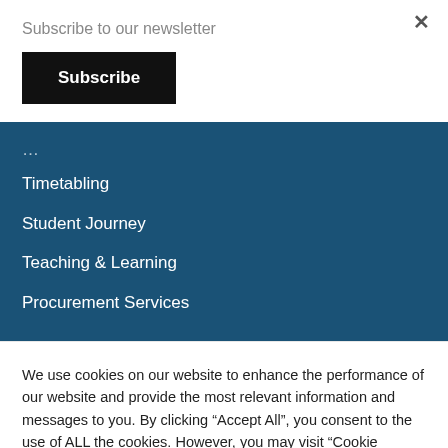Subscribe to our newsletter
Subscribe
Timetabling
Student Journey
Teaching & Learning
Procurement Services
We use cookies on our website to enhance the performance of our website and provide the most relevant information and messages to you. By clicking “Accept All”, you consent to the use of ALL the cookies. However, you may visit “Cookie Settings” to provide a controlled consent.
Cookie Settings
Accept All